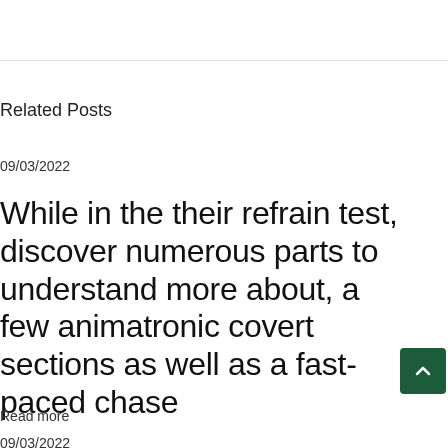Related Posts
09/03/2022
While in the their refrain test, discover numerous parts to understand more about, a few animatronic covert sections as well as a fast-paced chase
Read more
09/03/2022